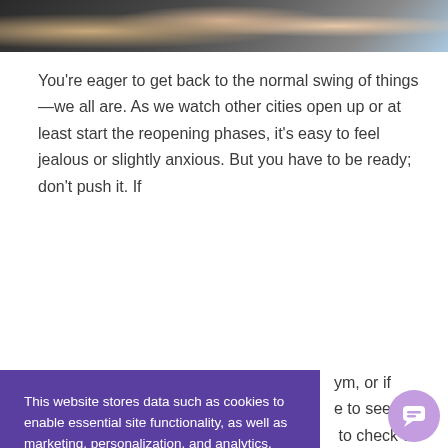[Figure (photo): Cropped photo of people in athletic/gym attire, partially visible at top of page]
You’re eager to get back to the normal swing of things—we all are. As we watch other cities open up or at least start the reopening phases, it’s easy to feel jealous or slightly anxious. But you have to be ready; don’t push it. If [your gym is not yet open / you’re not ready to see your gym], or if [you’re not ready] to check off
[Figure (screenshot): Cookie consent overlay banner with purple background. Contains text: 'This website stores data such as cookies to enable essential site functionality, as well as marketing, personalization, and analytics.' with a Cookie Policy link and Accept/Deny buttons.]